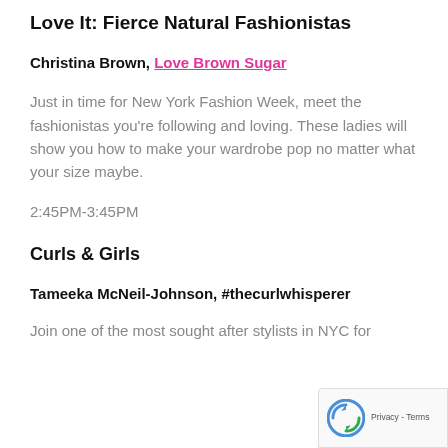Love It: Fierce Natural Fashionistas
Christina Brown, Love Brown Sugar
Just in time for New York Fashion Week, meet the fashionistas you're following and loving. These ladies will show you how to make your wardrobe pop no matter what your size maybe.
2:45PM-3:45PM
Curls & Girls
Tameeka McNeil-Johnson, #thecurlwhisperer
Join one of the most sought after stylists in NYC for